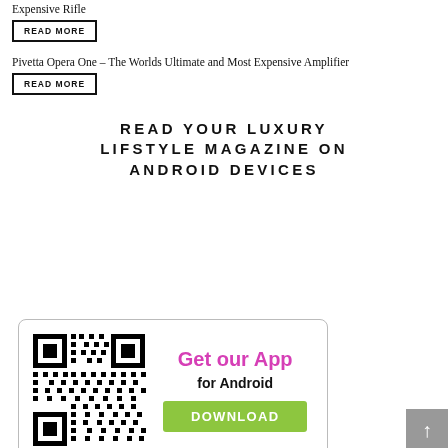Expensive Rifle
READ MORE
Pivetta Opera One – The Worlds Ultimate and Most Expensive Amplifier
READ MORE
READ YOUR LUXURY LIFSTYLE MAGAZINE ON ANDROID DEVICES
[Figure (other): App promotion banner with QR code, 'Get our App for Android' text and a green DOWNLOAD button]
Get our App
for Android
DOWNLOAD